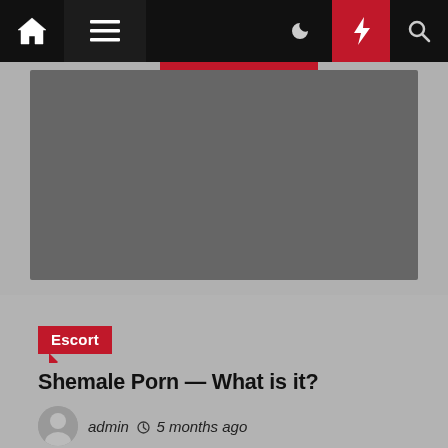Navigation bar with home, menu, moon, lightning, and search icons
[Figure (screenshot): Gray placeholder image card at top]
Escort
Shemale Porn — What is it?
admin  5 months ago
[Figure (screenshot): Gray placeholder image card at bottom, partially visible]